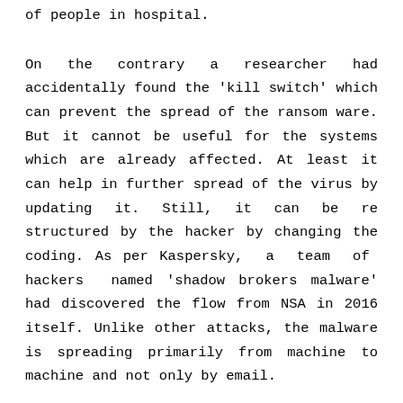of people in hospital.
On the contrary a researcher had accidentally found the 'kill switch' which can prevent the spread of the ransom ware. But it cannot be useful for the systems which are already affected. At least it can help in further spread of the virus by updating it. Still, it can be re structured by the hacker by changing the coding. As per Kaspersky, a team of hackers named 'shadow brokers malware' had discovered the flow from NSA in 2016 itself. Unlike other attacks, the malware is spreading primarily from machine to machine and not only by email.